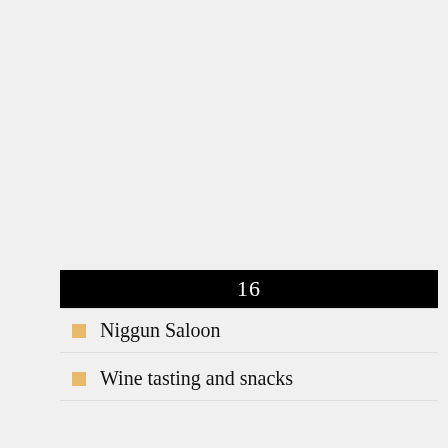16
Niggun Saloon
Wine tasting and snacks